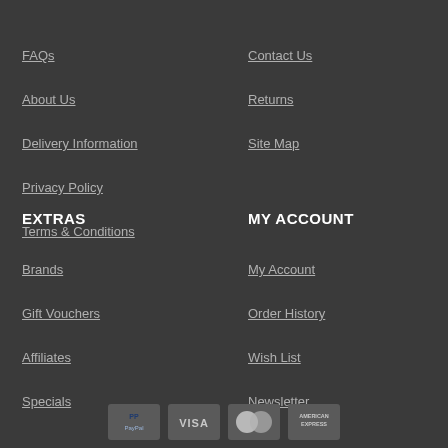FAQs
Contact Us
About Us
Returns
Delivery Information
Site Map
Privacy Policy
Terms & Conditions
EXTRAS
MY ACCOUNT
Brands
My Account
Gift Vouchers
Order History
Affiliates
Wish List
Specials
Newsletter
[Figure (logo): Payment icons: PayPal, Visa, Mastercard, American Express]